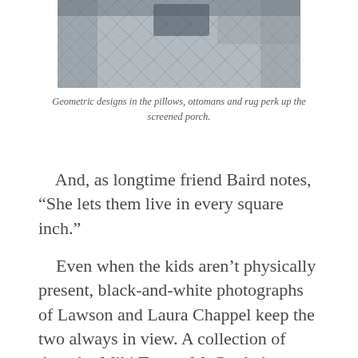[Figure (photo): Photograph showing geometric patterned pillows, ottomans, and a rug on a screened porch, viewed from above at an angle.]
Geometric designs in the pillows, ottomans and rug perk up the screened porch.
And, as longtime friend Baird notes, “She lets them live in every square inch.”
Even when the kids aren’t physically present, black-and-white photographs of Lawson and Laura Chappel keep the two always in view. A collection of them by Miki Turner McCurdy hangs in the stairway, and another suite of photos, by Jade Lott, graces a hallway. Susan Woodard